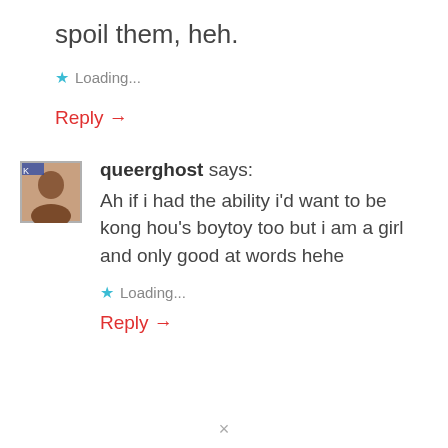spoil them, heh.
Loading...
Reply →
queerghost says: Ah if i had the ability i'd want to be kong hou's boytoy too but i am a girl and only good at words hehe
Loading...
Reply →